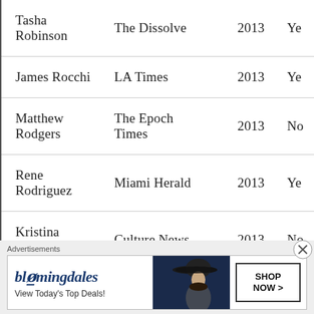| Name | Publication | Year | Y/N |
| --- | --- | --- | --- |
| Tasha Robinson | The Dissolve | 2013 | Ye |
| James Rocchi | LA Times | 2013 | Ye |
| Matthew Rodgers | The Epoch Times | 2013 | No |
| Rene Rodriguez | Miami Herald | 2013 | Ye |
| Kristina Rodulfo | Culture News | 2013 | No |
| Richard Roeper | Chicago Sun-Times | 2013 | Ye |
| Matthew Rogers | Epoch Times | 2013 | No |
Advertisements
[Figure (illustration): Bloomingdales advertisement with woman in hat. Text: bloomingdales, View Today's Top Deals!, SHOP NOW >]